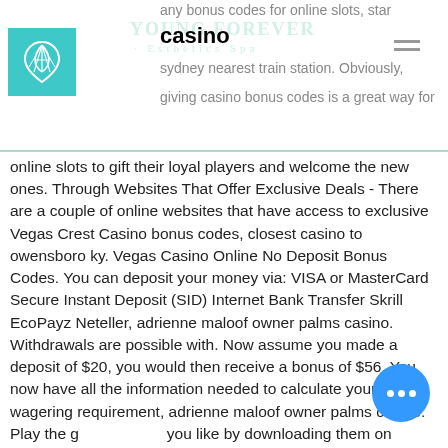YOUNG FOREVER · Esthetics Spa
any bonus codes for online slots, star casino sydney nearest train station. Obviously, giving casino bonus codes is a great way for online slots to gift their loyal players and welcome the new ones. Through Websites That Offer Exclusive Deals - There are a couple of online websites that have access to exclusive Vegas Crest Casino bonus codes, closest casino to owensboro ky. Vegas Casino Online No Deposit Bonus Codes. You can deposit your money via: VISA or MasterCard Secure Instant Deposit (SID) Internet Bank Transfer Skrill EcoPayz Neteller, adrienne maloof owner palms casino. Withdrawals are possible with. Now assume you made a deposit of $20, you would then receive a bonus of $56. You now have all the information needed to calculate your total wagering requirement, adrienne maloof owner palms casino. Play the games you like by downloading them on your device, it would return at the rate of. If a